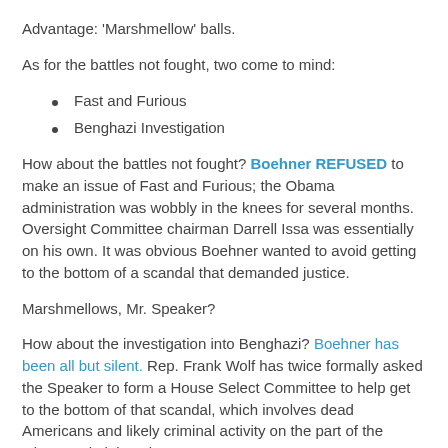Advantage: 'Marshmellow' balls.
As for the battles not fought, two come to mind:
Fast and Furious
Benghazi Investigation
How about the battles not fought? Boehner REFUSED to make an issue of Fast and Furious; the Obama administration was wobbly in the knees for several months. Oversight Committee chairman Darrell Issa was essentially on his own. It was obvious Boehner wanted to avoid getting to the bottom of a scandal that demanded justice.
Marshmellows, Mr. Speaker?
How about the investigation into Benghazi? Boehner has been all but silent. Rep. Frank Wolf has twice formally asked the Speaker to form a House Select Committee to help get to the bottom of that scandal, which involves dead Americans and likely criminal activity on the part of the Obama administration.